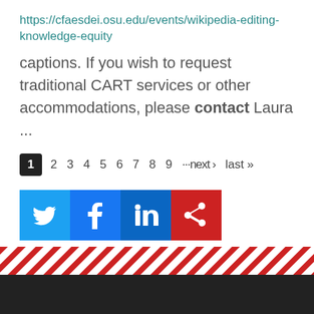https://cfaesdei.osu.edu/events/wikipedia-editing-knowledge-equity
captions. If you wish to request traditional CART services or other accommodations, please contact Laura ...
1  2  3  4  5  6  7  8  9  ···next ›  last »
[Figure (other): Social media share icons: Twitter (blue bird), Facebook (blue f), LinkedIn (blue in), and a red share/Crimson share button]
[Figure (other): Decorative footer stripe with diagonal red and white lines pattern, followed by a dark gray/black footer bar]